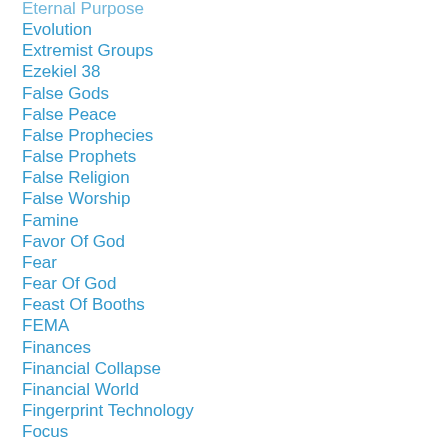Eternal Purpose
Evolution
Extremist Groups
Ezekiel 38
False Gods
False Peace
False Prophecies
False Prophets
False Religion
False Worship
Famine
Favor Of God
Fear
Fear Of God
Feast Of Booths
FEMA
Finances
Financial Collapse
Financial World
Fingerprint Technology
Focus